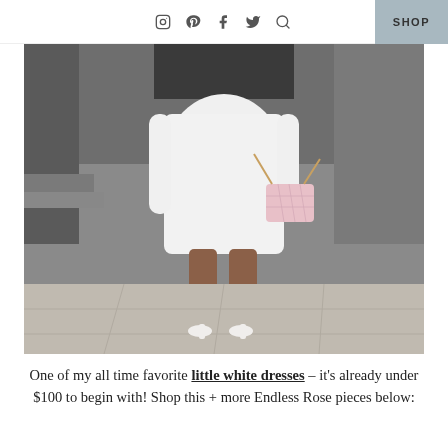SHOP
[Figure (photo): Fashion blog photo showing a woman from neck down wearing a white mini dress and white pointed-toe heels, carrying a pink quilted chain-strap handbag, walking on a marble/stone pavement with a grey building facade in the background.]
One of my all time favorite little white dresses – it's already under $100 to begin with! Shop this + more Endless Rose pieces below: